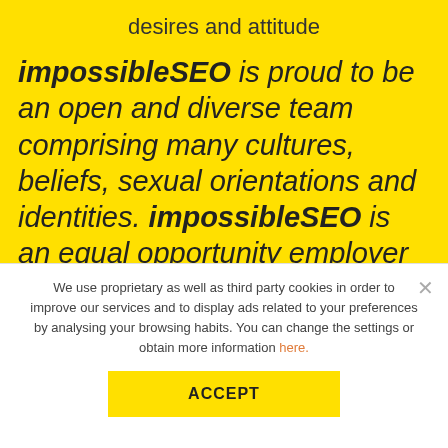desires and attitude
impossibleSEO is proud to be an open and diverse team comprising many cultures, beliefs, sexual orientations and identities. impossibleSEO is an equal opportunity employer and does
We use proprietary as well as third party cookies in order to improve our services and to display ads related to your preferences by analysing your browsing habits. You can change the settings or obtain more information here.
ACCEPT